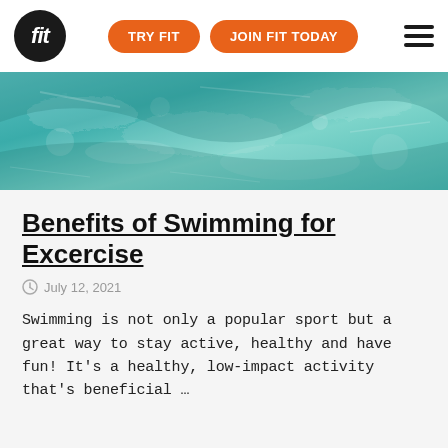fit | TRY FIT | JOIN FIT TODAY
[Figure (photo): Aerial/underwater view of a swimming pool with turquoise water showing ripples and reflections]
Benefits of Swimming for Excercise
July 12, 2021
Swimming is not only a popular sport but a great way to stay active, healthy and have fun! It's a healthy, low-impact activity that's beneficial …